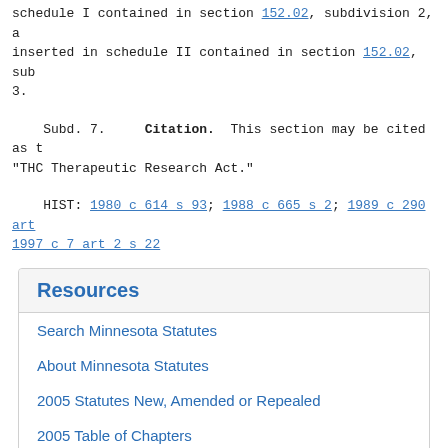schedule I contained in section 152.02, subdivision 2, a inserted in schedule II contained in section 152.02, sub 3.
Subd. 7. Citation. This section may be cited as t "THC Therapeutic Research Act."
HIST: 1980 c 614 s 93; 1988 c 665 s 2; 1989 c 290 art 1997 c 7 art 2 s 22
Resources
Search Minnesota Statutes
About Minnesota Statutes
2005 Statutes New, Amended or Repealed
2005 Table of Chapters
2005 Statutes Topics (Index)